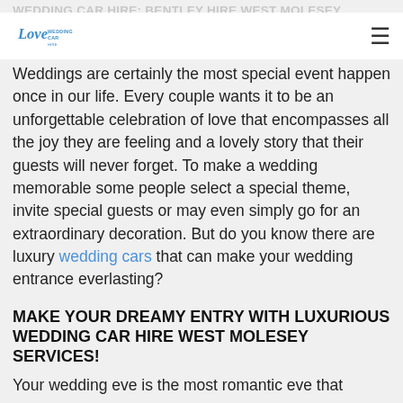WEDDING CAR HIRE: BENTLEY HIRE WEST MOLESEY
[Figure (logo): Love Wedding Cars logo — cursive blue text on white background]
Weddings are certainly the most special event happen once in our life. Every couple wants it to be an unforgettable celebration of love that encompasses all the joy they are feeling and a lovely story that their guests will never forget. To make a wedding memorable some people select a special theme, invite special guests or may even simply go for an extraordinary decoration. But do you know there are luxury wedding cars that can make your wedding entrance everlasting?
MAKE YOUR DREAMY ENTRY WITH LUXURIOUS WEDDING CAR HIRE WEST MOLESEY SERVICES!
Your wedding eve is the most romantic eve that